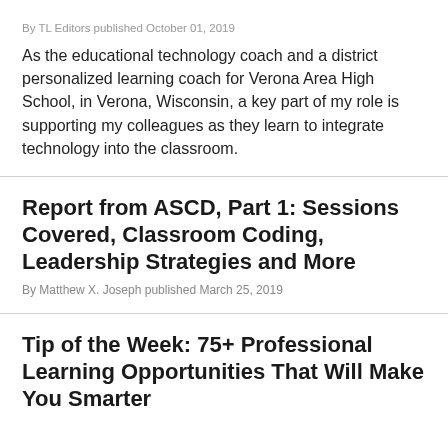By TL Editors published October 01, 2019
As the educational technology coach and a district personalized learning coach for Verona Area High School, in Verona, Wisconsin, a key part of my role is supporting my colleagues as they learn to integrate technology into the classroom.
Report from ASCD, Part 1: Sessions Covered, Classroom Coding, Leadership Strategies and More
By Matthew X. Joseph published March 25, 2019
Tip of the Week: 75+ Professional Learning Opportunities That Will Make You Smarter